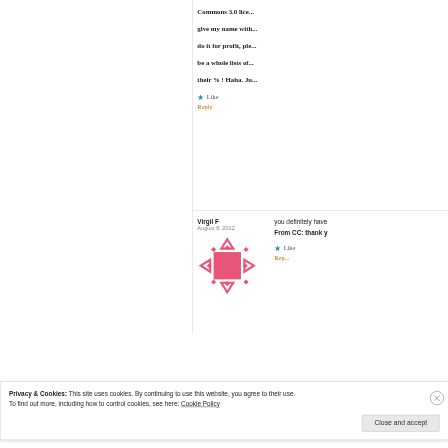Commons 3.0 lice... give my name with... do it for profit, ple... be a whole lists of... their % ! Haha. Ju...
Like
Reply
Virgil F
August 8, 2012
[Figure (illustration): Geometric avatar with pink square and diamond/triangle shapes around it in pink/coral color]
you definitely have
From CC: thank y
Like
Privacy & Cookies: This site uses cookies. By continuing to use this website, you agree to their use.
To find out more, including how to control cookies, see here: Cookie Policy
Close and accept